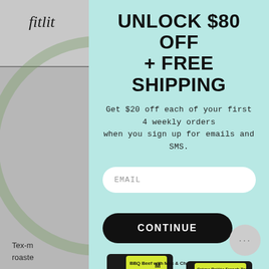fitlit
UNLOCK $80 OFF
+ FREE SHIPPING
Get $20 off each of your first 4 weekly orders when you sign up for emails and SMS.
EMAIL
CONTINUE
[Figure (photo): Black meal prep containers with yellow/green labels showing 'M' portion meals, stacked in rows on a light blue background]
Tex-n roaste ns, red